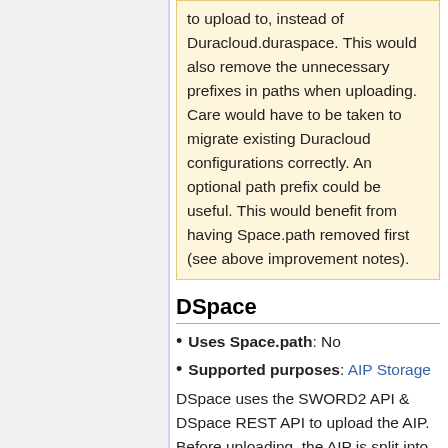to upload to, instead of Duracloud.duraspace. This would also remove the unnecessary prefixes in paths when uploading. Care would have to be taken to migrate existing Duracloud configurations correctly. An optional path prefix could be useful. This would benefit from having Space.path removed first (see above improvement notes).
DSpace
Uses Space.path: No
Supported purposes: AIP Storage
DSpace uses the SWORD2 API & DSpace REST API to upload the AIP. Before uploading, the AIP is split into two packages: one containing the objects, and one containing everything else